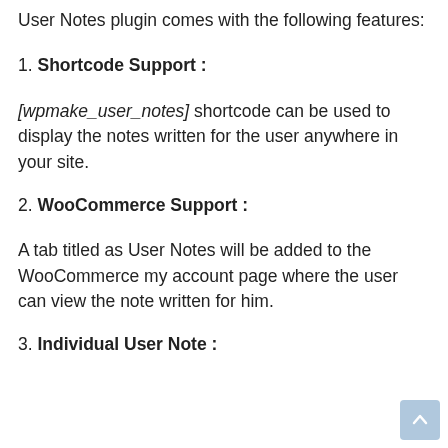User Notes plugin comes with the following features:
1. Shortcode Support :
[wpmake_user_notes] shortcode can be used to display the notes written for the user anywhere in your site.
2. WooCommerce Support :
A tab titled as User Notes will be added to the WooCommerce my account page where the user can view the note written for him.
3. Individual User Note :